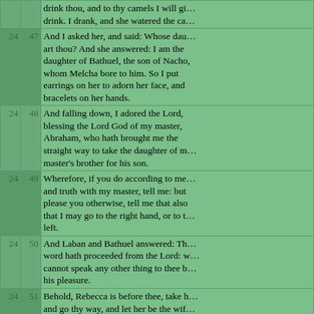| Chap | Verse | Text |
| --- | --- | --- |
|  |  | drink thou, and to thy camels I will give drink. I drank, and she watered the ca... |
| 24 | 47 | And I asked her, and said: Whose daughter art thou? And she answered: I am the daughter of Bathuel, the son of Nacho, whom Melcha bore to him. So I put earrings on her to adorn her face, and bracelets on her hands. |
| 24 | 48 | And falling down, I adored the Lord, blessing the Lord God of my master, Abraham, who hath brought me the straight way to take the daughter of my master's brother for his son. |
| 24 | 49 | Wherefore, if you do according to mercy and truth with my master, tell me: but if it please you otherwise, tell me that also: that I may go to the right hand, or to the left. |
| 24 | 50 | And Laban and Bathuel answered: The word hath proceeded from the Lord: we cannot speak any other thing to thee but his pleasure. |
| 24 | 51 | Behold, Rebecca is before thee, take her and go thy way, and let her be the wife... |